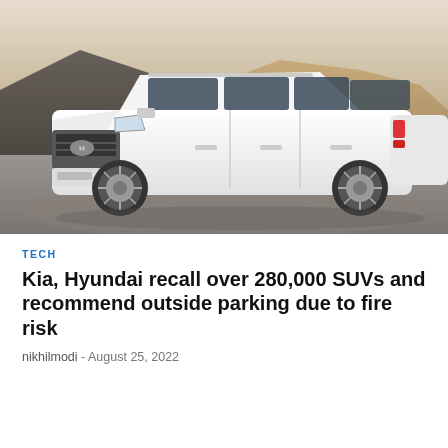[Figure (photo): A white Hyundai Palisade SUV parked on a concrete surface with rocky desert hills in the background under a dusky sky.]
TECH
Kia, Hyundai recall over 280,000 SUVs and recommend outside parking due to fire risk
nikhilmodi - August 25, 2022